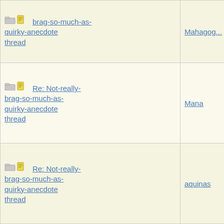| Thread | Author |
| --- | --- |
| Re: Not-really-brag-so-much-as-quirky-anecdote thread | Mahagog... |
| Re: Not-really-brag-so-much-as-quirky-anecdote thread | Mana |
| Re: Not-really-brag-so-much-as-quirky-anecdote thread | aquinas |
| Re: Not-really-brag-so-much-as-quirky-anecdote thread | Mana |
| Re: Not-really-brag-so-much-as-quirky-anecdote thread | aquinas |
| Re: Not-really-brag-so-much-as-quirky-anecdote thread | aquinas |
| Re: Not-really-brag-so-much-as-quirky-anecdote thread | Mana |